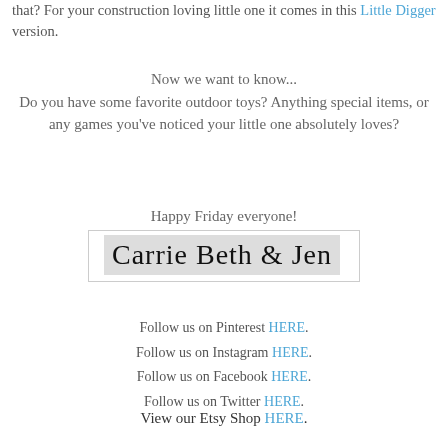that? For your construction loving little one it comes in this Little Digger version.
Now we want to know... Do you have some favorite outdoor toys? Anything special items, or any games you've noticed your little one absolutely loves?
Happy Friday everyone!
[Figure (other): Handwritten signature image reading 'Carrie Beth & Jen' in cursive script on a light grey and white background with border]
Follow us on Pinterest HERE. Follow us on Instagram HERE. Follow us on Facebook HERE. Follow us on Twitter HERE.
View our Etsy Shop HERE.